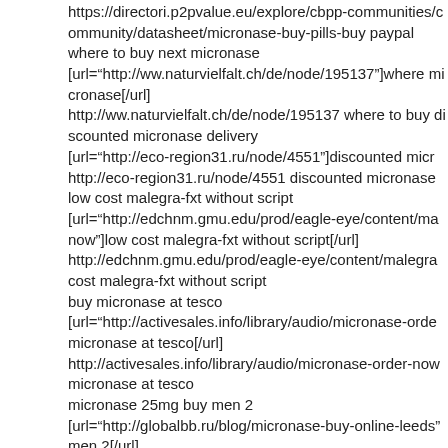https://directori.p2pvalue.eu/explore/cbpp-communities/community/datasheet/micronase-buy-pills-buy paypal
where to buy next micronase
[url="http://ww.naturvielfalt.ch/de/node/195137"]where micronase[/url]
http://ww.naturvielfalt.ch/de/node/195137 where to buy discounted micronase delivery
[url="http://eco-region31.ru/node/4551"]discounted micr
http://eco-region31.ru/node/4551 discounted micronase
low cost malegra-fxt without script
[url="http://edchnm.gmu.edu/prod/eagle-eye/content/ma now"]low cost malegra-fxt without script[/url]
http://edchnm.gmu.edu/prod/eagle-eye/content/malegra cost malegra-fxt without script
buy micronase at tesco
[url="http://activesales.info/library/audio/micronase-orde micronase at tesco[/url]
http://activesales.info/library/audio/micronase-order-now micronase at tesco
micronase 25mg buy men 2
[url="http://globalbb.ru/blog/micronase-buy-online-leeds" men 2[/url]
http://globalbb.ru/blog/micronase-buy-online-leeds micro